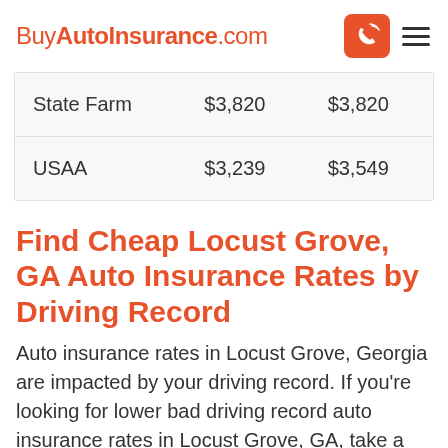BuyAutoInsurance.com
| State Farm | $3,820 | $3,820 |
| USAA | $3,239 | $3,549 |
Find Cheap Locust Grove, GA Auto Insurance Rates by Driving Record
Auto insurance rates in Locust Grove, Georgia are impacted by your driving record. If you're looking for lower bad driving record auto insurance rates in Locust Grove, GA, take a look